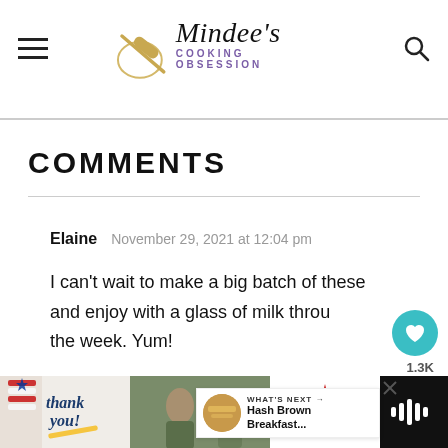[Figure (logo): Mindee's Cooking Obsession logo with rolling pin graphic, site header with hamburger menu and search icon]
COMMENTS
Elaine    November 29, 2021 at 12:04 pm
I can't wait to make a big batch of these and enjoy with a glass of milk through the week. Yum!
[Figure (screenshot): What's Next widget showing Hash Brown Breakfast... with thumbnail image]
[Figure (screenshot): Advertisement banner - Operation Gratitude with thank you image and military photo, dark background]